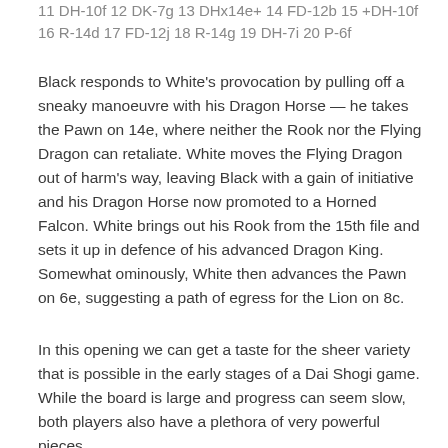11 DH-10f 12 DK-7g 13 DHx14e+ 14 FD-12b 15 +DH-10f 16 R-14d 17 FD-12j 18 R-14g 19 DH-7i 20 P-6f
Black responds to White's provocation by pulling off a sneaky manoeuvre with his Dragon Horse — he takes the Pawn on 14e, where neither the Rook nor the Flying Dragon can retaliate.  White moves the Flying Dragon out of harm's way, leaving Black with a gain of initiative and his Dragon Horse now promoted to a Horned Falcon.  White brings out his Rook from the 15th file and sets it up in defence of his advanced Dragon King.  Somewhat ominously, White then advances the Pawn on 6e, suggesting a path of egress for the Lion on 8c.
In this opening we can get a taste for the sheer variety that is possible in the early stages of a Dai Shogi game.  While the board is large and progress can seem slow, both players also have a plethora of very powerful pieces